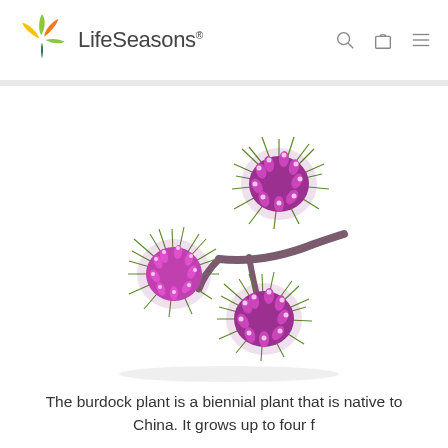[Figure (logo): LifeSeasons logo with colorful leaf/petal icon and wordmark, plus navigation icons (search, bag, menu)]
[Figure (photo): Burdock plant burrs with purple spiky flowers and green needle-like bracts on a white background]
The burdock plant is a biennial plant that is native to China. It grows up to four f